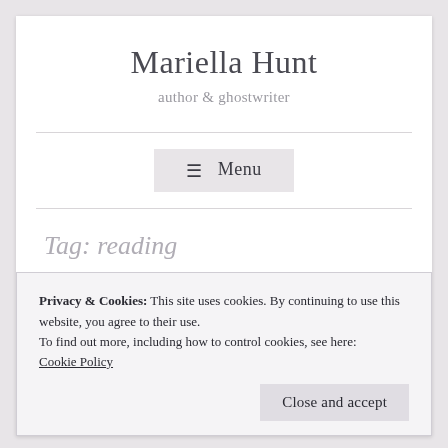Mariella Hunt
author & ghostwriter
≡ Menu
Tag: reading
Privacy & Cookies: This site uses cookies. By continuing to use this website, you agree to their use.
To find out more, including how to control cookies, see here:
Cookie Policy
Close and accept